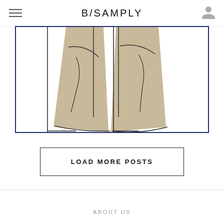B/SAMPLY
[Figure (illustration): Fashion illustration showing two trouser legs in khaki/tan color within a dark navy blue bordered card/frame]
LOAD MORE POSTS
ABOUT US